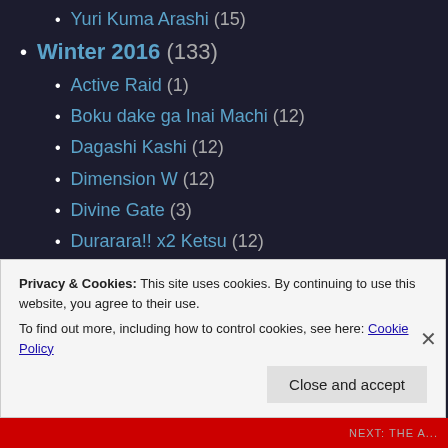Yuri Kuma Arashi (15)
Winter 2016 (133)
Active Raid (1)
Boku dake ga Inai Machi (12)
Dagashi Kashi (12)
Dimension W (12)
Divine Gate (3)
Durarara!! x2 Ketsu (12)
GATE Season 2 (12)
Hai to Gensou no Grimgar (12)
Kono Subarashii Sekai ni Shukufuku wo! (10)
Privacy & Cookies: This site uses cookies. By continuing to use this website, you agree to their use.
To find out more, including how to control cookies, see here: Cookie Policy
Close and accept